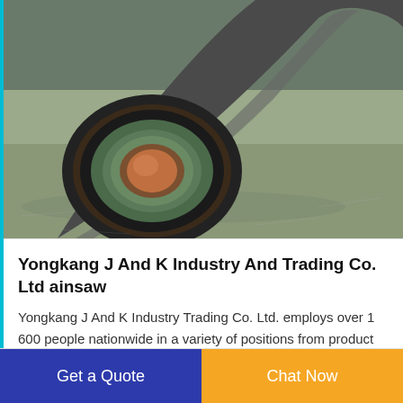[Figure (photo): Close-up photo of a cut end of a large electrical cable showing concentric layers: copper core center, green/grey insulation ring, black outer jacket, lying on dirt/concrete ground.]
Yongkang J And K Industry And Trading Co. Ltd ainsaw
Yongkang J And K Industry Trading Co. Ltd. employs over 1 600 people nationwide in a variety of positions from product